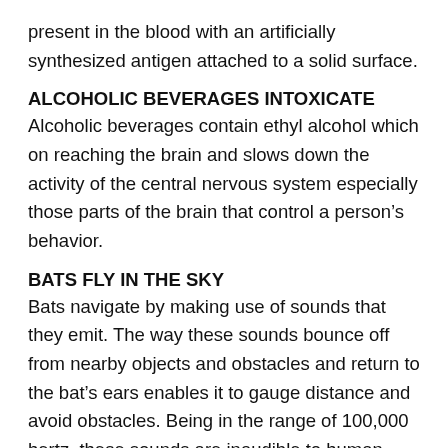present in the blood with an artificially synthesized antigen attached to a solid surface.
ALCOHOLIC BEVERAGES INTOXICATE
Alcoholic beverages contain ethyl alcohol which on reaching the brain and slows down the activity of the central nervous system especially those parts of the brain that control a person’s behavior.
BATS FLY IN THE SKY
Bats navigate by making use of sounds that they emit. The way these sounds bounce off from nearby objects and obstacles and return to the bat’s ears enables it to gauge distance and avoid obstacles. Being in the range of 100,000 hertz, these sounds are inaudible to human ears which can hear only unto 20,000 hertz.
Bats can discriminate between faint echoes of their